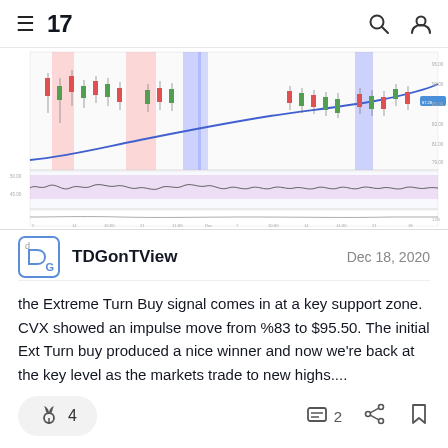TradingView navigation bar with hamburger menu, TV logo, search and account icons
[Figure (screenshot): TradingView financial chart showing candlestick price action with pink and blue highlighted vertical zones, a rising blue curve (moving average), an oscillator panel in the middle with pink shaded region, and a lower indicator panel. Time axis spans from early November to late December.]
TDGonTView   Dec 18, 2020
the Extreme Turn Buy signal comes in at a key support zone. CVX showed an impulse move from %83 to $95.50. The initial Ext Turn buy produced a nice winner and now we're back at the key level as the markets trade to new highs....
🚀 4    💬 2    share    bookmark